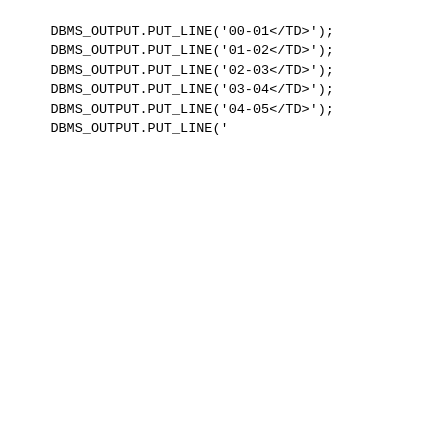DBMS_OUTPUT.PUT_LINE('<TD STYLE="font-family: monospace; font-weight: bold; background-color:#DEDEDE">00-01</TD>');
    DBMS_OUTPUT.PUT_LINE('<TD STYLE="font-family: monospace; font-weight: bold; background-color:#DEDEDE">01-02</TD>');
    DBMS_OUTPUT.PUT_LINE('<TD STYLE="font-family: monospace; font-weight: bold; background-color:#DEDEDE">02-03</TD>');
    DBMS_OUTPUT.PUT_LINE('<TD STYLE="font-family: monospace; font-weight: bold; background-color:#DEDEDE">03-04</TD>');
    DBMS_OUTPUT.PUT_LINE('<TD STYLE="font-family: monospace; font-weight: bold; background-color:#DEDEDE">04-05</TD>');
    DBMS_OUTPUT.PUT_LINE('<TD